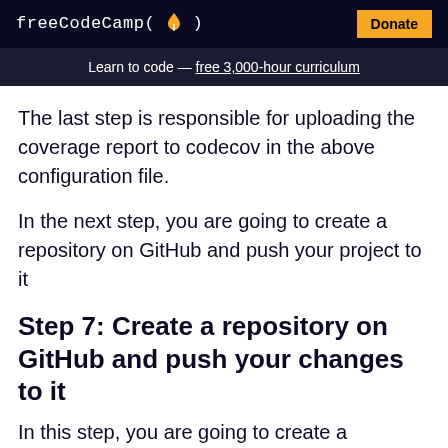freeCodeCamp(🔥)  Donate
Learn to code — free 3,000-hour curriculum
The last step is responsible for uploading the coverage report to codecov in the above configuration file.
In the next step, you are going to create a repository on GitHub and push your project to it
Step 7: Create a repository on GitHub and push your changes to it
In this step, you are going to create a repository